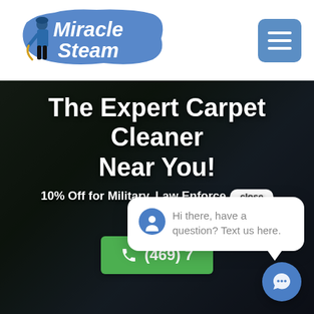[Figure (logo): Miracle Steam logo: person in blue shirt with cleaning equipment, blue paint-stroke background with white italic bold text 'Miracle Steam']
[Figure (other): Blue rounded square hamburger menu button with three white horizontal lines]
The Expert Carpet Cleaner Near You!
10% Off for Military, Law Enforcement and [partially obscured]
(469) [partially obscured] phone number CTA button
Hi there, have a question? Text us here.
[Figure (other): Blue circle chat trigger button with speech bubble icon]